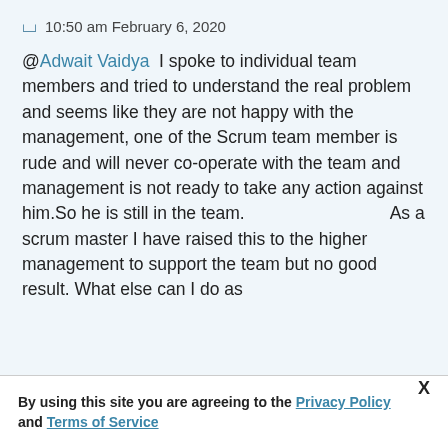10:50 am February 6, 2020
@Adwait Vaidya I spoke to individual team members and tried to understand the real problem and seems like they are not happy with the management, one of the Scrum team member is rude and will never co-operate with the team and management is not ready to take any action against him.So he is still in the team.                              As a scrum master I have raised this to the higher management to support the team but no good result. What else can I do as
By using this site you are agreeing to the Privacy Policy and Terms of Service